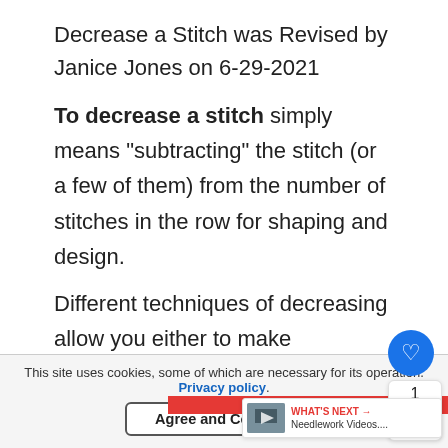Decrease a Stitch was Revised by Janice Jones on 6-29-2021
To decrease a stitch simply means "subtracting" the stitch (or a few of them) from the number of stitches in the row for shaping and design.
Different techniques of decreasing allow you either to make decreases  hardly visible or on the contrary, make them clearly visible in
[Figure (screenshot): Floating action button with heart icon (blue circle), count of 1, and share icon in a white panel on the right side]
[Figure (screenshot): What's Next widget showing 'WHAT'S NEXT → Needlework Videos....' with a small thumbnail image]
This site uses cookies, some of which are necessary for its operation. Privacy policy.
Agree and Continue